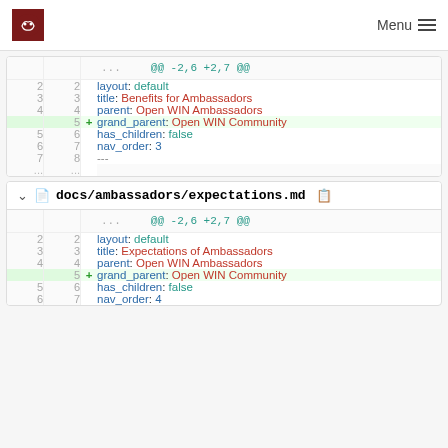Menu
[Figure (screenshot): Git diff view for docs/ambassadors/benefits.md showing addition of grand_parent: Open WIN Community line]
[Figure (screenshot): Git diff view for docs/ambassadors/expectations.md showing addition of grand_parent: Open WIN Community line]